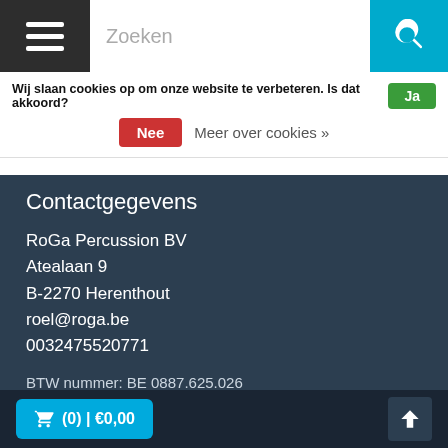[Figure (screenshot): Navigation bar with hamburger menu, search field, and search button]
Wij slaan cookies op om onze website te verbeteren. Is dat akkoord? Ja
Nee   Meer over cookies »
Contactgegevens
RoGa Percussion BV
Atealaan 9
B-2270 Herenthout
roel@roga.be
0032475520771
BTW nummer: BE 0887.625.026
Meer informatie
Klantenservice
Openingsuren Winkel
🛒 (0) | €0,00